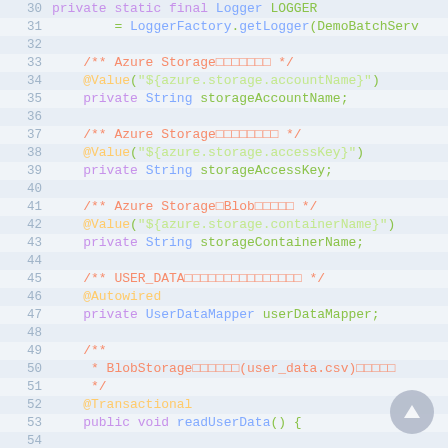[Figure (screenshot): Source code editor screenshot showing Java code lines 30-59. Code includes Logger field declaration, @Value annotations for Azure Storage properties (accountName, accessKey, containerName), @Autowired UserDataMapper field, and @Transactional readUserData() method with comment and variable declaration.]